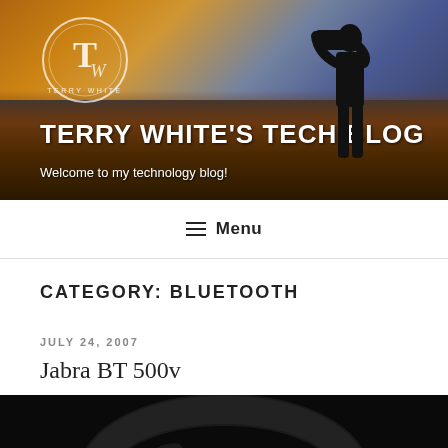[Figure (photo): Blog header banner with dramatic desert landscape at sunset/dusk, silhouette of photographer, and Terry White logo circle]
TERRY WHITE'S TECH BLOG
Welcome to my technology blog!
≡ Menu
CATEGORY: BLUETOOTH
JULY 24, 2007
Jabra BT 500v
[Figure (photo): Photo of Jabra BT 500v Bluetooth headset, black curved earpiece]